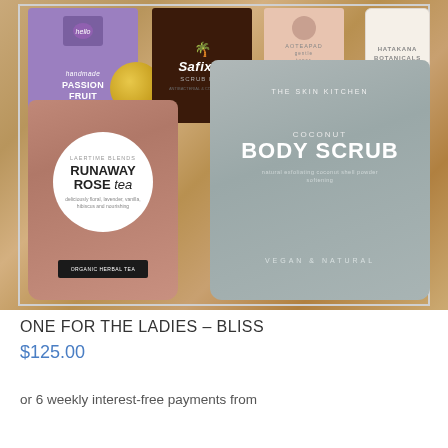[Figure (photo): Gift hamper photo showing a box filled with straw/paper filler containing: a purple Passion Fruit Shortbread Bites box, Safix Scrub Pad in dark packaging, pink Aoteapad packaging, Hatakana Botanicals white candle jar, a brown/rose Runaway Rose Tea bag with circular white label, and a grey The Skin Kitchen Coconut Body Scrub pouch.]
ONE FOR THE LADIES – BLISS
$125.00
or 6 weekly interest-free payments from